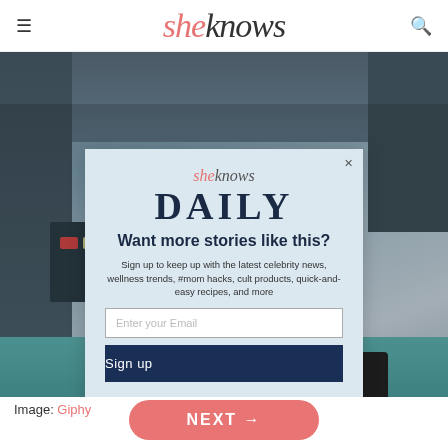sheknows
[Figure (screenshot): Background image of a retro control room or TV studio with dark panels, control consoles, and equipment. A modal popup overlays the image.]
Image: Giphy